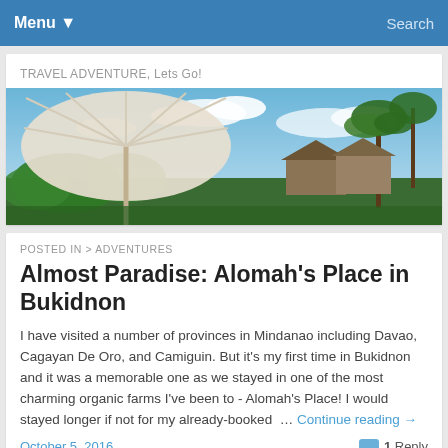Menu ▾   Search
TRAVEL ADVENTURE, Lets Go!
[Figure (photo): Wide panoramic photo of a resort with a large white umbrella in the foreground, palm trees, blue sky with clouds, and thatched-roof bungalows in the background]
POSTED IN > ADVENTURES
Almost Paradise: Alomah's Place in Bukidnon
I have visited a number of provinces in Mindanao including Davao, Cagayan De Oro, and Camiguin. But it's my first time in Bukidnon and it was a memorable one as we stayed in one of the most charming organic farms I've been to - Alomah's Place! I would stayed longer if not for my already-booked … Continue reading →
October 5, 2016    1 Reply